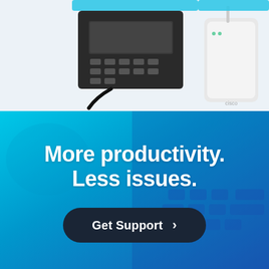[Figure (photo): Phone handset and white wireless router/access point device on light blue-grey background, partially cropped at top]
[Figure (infographic): Blue gradient banner with keyboard background texture. Contains headline text 'More productivity. Less issues.' and a dark rounded button 'Get Support >']
Our Managed IT Services & Solutions delivered in Coolbinia, Perth